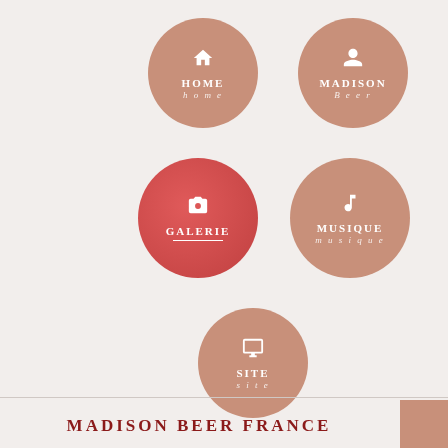[Figure (infographic): Navigation menu as circular buttons: HOME (tan circle with house icon), MADISON Beer (tan circle with person icon), GALERIE (red circle with camera icon, currently selected with underline), MUSIQUE (tan circle with music note icon), SITE (tan circle with monitor icon). Bottom text reads MADISON BEER FRANCE in dark red.]
MADISON BEER FRANCE